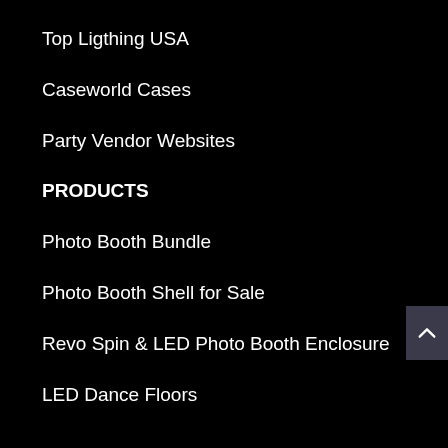Top Ligthing USA
Caseworld Cases
Party Vendor Websites
PRODUCTS
Photo Booth Bundle
Photo Booth Shell for Sale
Revo Spin & LED Photo Booth Enclosure
LED Dance Floors